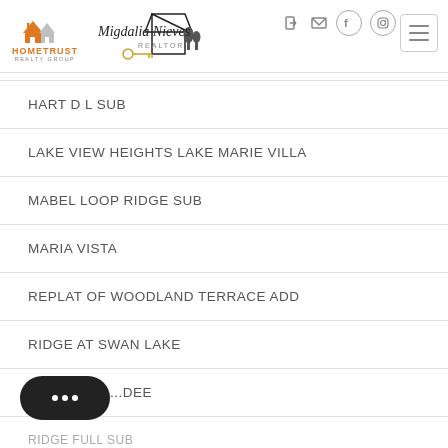HomeTrust Realty Group – Migdalia Nieves Realtor
HART D L SUB
LAKE VIEW HEIGHTS LAKE MARIE VILLA
MABEL LOOP RIDGE SUB
MARIA VISTA
REPLAT OF WOODLAND TERRACE ADD
RIDGE AT SWAN LAKE
...DEE
RIDGE HILL SUB